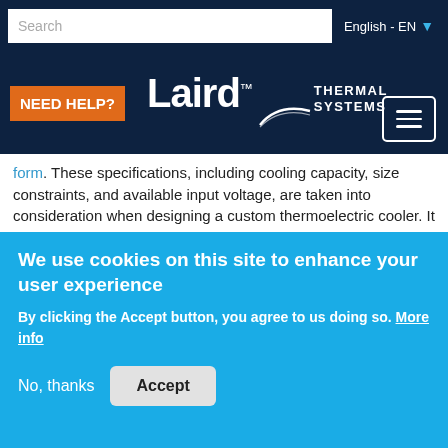[Figure (screenshot): Website navigation bar with search box and English language selector on dark navy background]
[Figure (logo): Laird Thermal Systems logo with orange NEED HELP? button and hamburger menu icon on dark navy background]
form. These specifications, including cooling capacity, size constraints, and available input voltage, are taken into consideration when designing a custom thermoelectric cooler. It will also serve as the basis for quotation purposes and as a checklist throughout the process to ensure all requirements are met.
We use cookies on this site to enhance your user experience
By clicking the Accept button, you agree to us doing so. More info
No, thanks    Accept